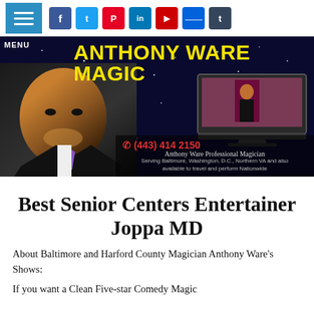MENU | Social icons: Facebook, Twitter, Pinterest, LinkedIn, YouTube, Flickr, Tumblr
[Figure (photo): Anthony Ware Magic banner with man in suit on starry background, monitor showing performance, contact info: (443) 414 2150, Anthony Ware Professional Magician, Serving Baltimore, Washington D.C., Northern VA and also available to travel and perform Nationwide]
Best Senior Centers Entertainer Joppa MD
About Baltimore and Harford County Magician Anthony Ware's Shows:
If you want a Clean Five-star Comedy Magic